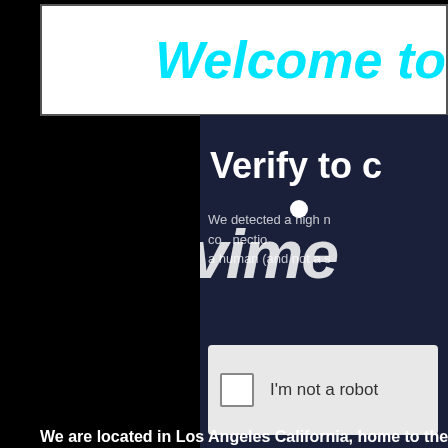Welcome to
[Figure (screenshot): Vimeo CAPTCHA verification panel with dark navy background showing 'Verify to c...' heading, 'We detected a high number of connections from your location...' body text, a Vimeo watermark logo overlay, and an 'I'm not a robot' checkbox widget]
We are located in Los Angeles California, home to the b...